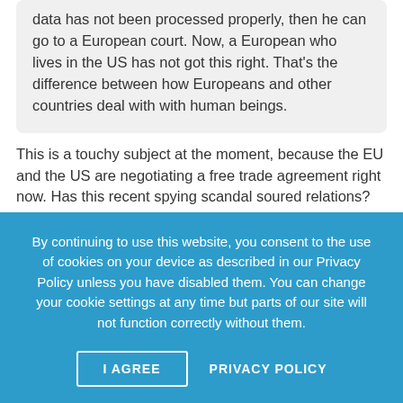data has not been processed properly, then he can go to a European court. Now, a European who lives in the US has not got this right. That's the difference between how Europeans and other countries deal with with human beings.
This is a touchy subject at the moment, because the EU and the US are negotiating a free trade agreement right now. Has this recent spying scandal soured relations?
Reding says:
By continuing to use this website, you consent to the use of cookies on your device as described in our Privacy Policy unless you have disabled them. You can change your cookie settings at any time but parts of our site will not function correctly without them.
I AGREE
PRIVACY POLICY